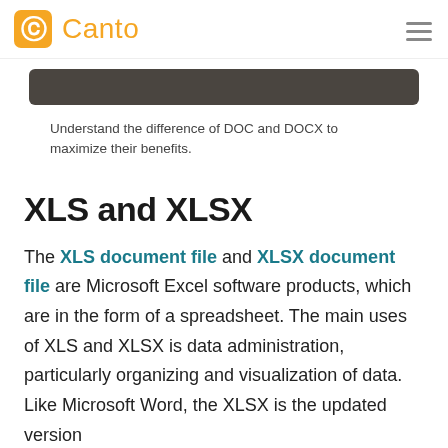Canto
[Figure (other): Dark rounded rectangular image strip, partial view of a decorative banner image]
Understand the difference of DOC and DOCX to maximize their benefits.
XLS and XLSX
The XLS document file and XLSX document file are Microsoft Excel software products, which are in the form of a spreadsheet. The main uses of XLS and XLSX is data administration, particularly organizing and visualization of data. Like Microsoft Word, the XLSX is the updated version